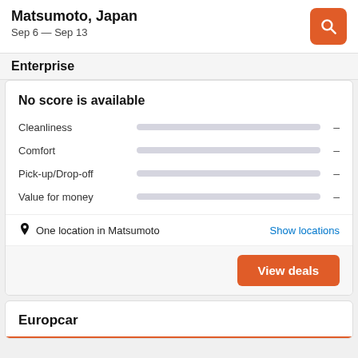Matsumoto, Japan
Sep 6 — Sep 13
Enterprise
No score is available
Cleanliness  -
Comfort  -
Pick-up/Drop-off  -
Value for money  -
One location in Matsumoto  Show locations
View deals
Europcar